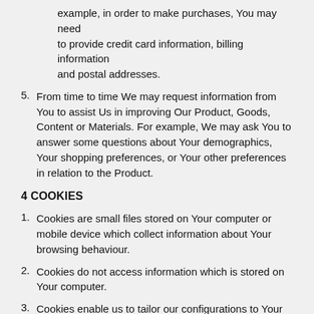example, in order to make purchases, You may need to provide credit card information, billing information and postal addresses.
5. From time to time We may request information from You to assist Us in improving Our Product, Goods, Content or Materials. For example, We may ask You to answer some questions about Your demographics, Your shopping preferences, or Your other preferences in relation to the Product.
4 COOKIES
1. Cookies are small files stored on Your computer or mobile device which collect information about Your browsing behaviour.
2. Cookies do not access information which is stored on Your computer.
3. Cookies enable us to tailor our configurations to Your needs and preferences, in order to improve Your user experience.